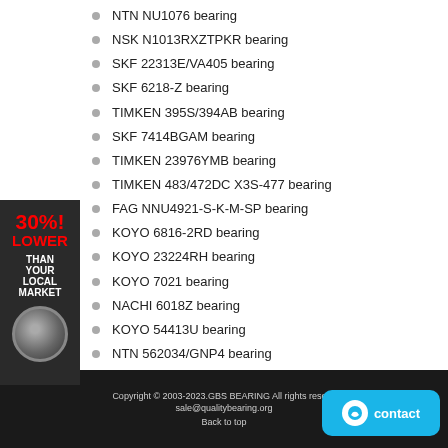NTN NU1076 bearing
NSK N1013RXZTPKR bearing
SKF 22313E/VA405 bearing
SKF 6218-Z bearing
TIMKEN 395S/394AB bearing
SKF 7414BGAM bearing
TIMKEN 23976YMB bearing
TIMKEN 483/472DC X3S-477 bearing
FAG NNU4921-S-K-M-SP bearing
KOYO 6816-2RD bearing
KOYO 23224RH bearing
KOYO 7021 bearing
NACHI 6018Z bearing
KOYO 54413U bearing
NTN 562034/GNP4 bearing
NTN 4T-CR0676PX2 bearing
KOYO 3NCHAC001C bearing
Copyright © 2003-2023.GBS BEARING All rights reserved. sale@qualitybearing.org Back to top